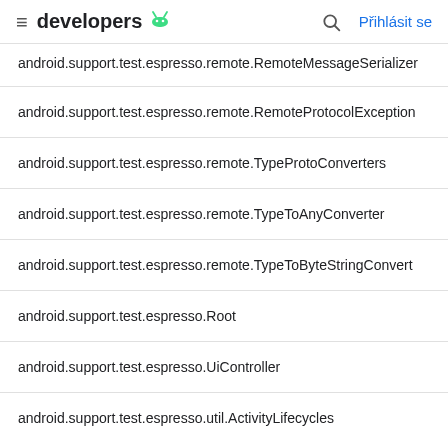developers [android logo] [search] Přihlásit se
android.support.test.espresso.remote.RemoteMessageSerializer
android.support.test.espresso.remote.RemoteProtocolException
android.support.test.espresso.remote.TypeProtoConverters
android.support.test.espresso.remote.TypeToAnyConverter
android.support.test.espresso.remote.TypeToByteStringConverter
android.support.test.espresso.Root
android.support.test.espresso.UiController
android.support.test.espresso.util.ActivityLifecycles